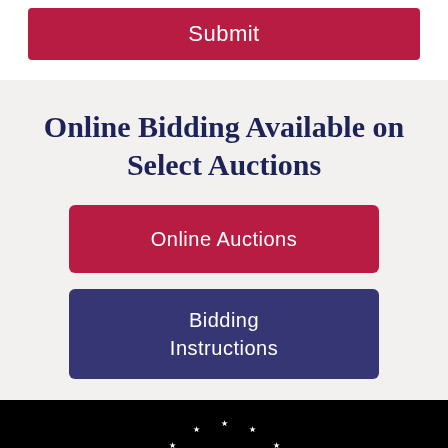Submit
Online Bidding Available on Select Auctions
Online Auctions
Bidding Instructions
[Figure (logo): Auction company circular logo with stars and 'AUCTION' text on black background]